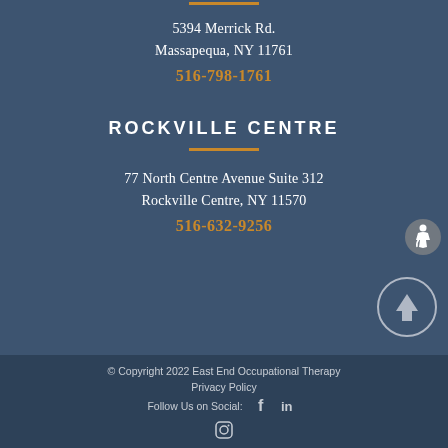[Figure (other): Orange horizontal decorative bar at top center]
5394 Merrick Rd.
Massapequa, NY 11761
516-798-1761
ROCKVILLE CENTRE
[Figure (other): Orange horizontal decorative bar below section header]
77 North Centre Avenue Suite 312
Rockville Centre, NY 11570
516-632-9256
[Figure (other): Scroll-to-top arrow button circle at bottom right]
[Figure (other): Wheelchair accessibility icon at right side]
© Copyright 2022 East End Occupational Therapy
Privacy Policy
Follow Us on Social: [Facebook] [LinkedIn] [Instagram]